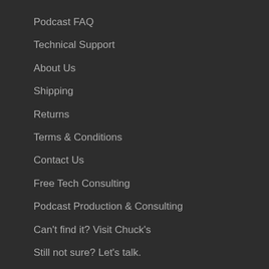Podcast FAQ
Technical Support
About Us
Shipping
Returns
Terms & Conditions
Contact Us
Free Tech Consulting
Podcast Production & Consulting
Can't find it? Visit Chuck's
Still not sure? Let's talk.